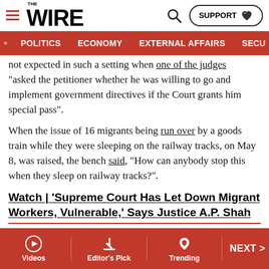THE WIRE | POLITICS | ECONOMY | EXTERNAL AFFAIRS | SECU...
not expected in such a setting when one of the judges "asked the petitioner whether he was willing to go and implement government directives if the Court grants him special pass".
When the issue of 16 migrants being run over by a goods train while they were sleeping on the railway tracks, on May 8, was raised, the bench said, “How can anybody stop this when they sleep on railway tracks?”.
Watch | ‘Supreme Court Has Let Down Migrant Workers, Vulnerable,’ Says Justice A.P. Shah
This last remark not only displayed the lack of sympathy for the victims of the tragedy; it also betrayed the fact that the
Videos | Editor's Pick | Trending | NEXT >